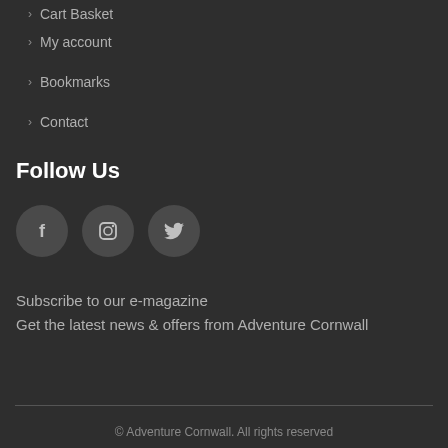Cart Basket
My account
Bookmarks
Contact
Follow Us
[Figure (infographic): Three social media icon circles: Facebook (f), Instagram (camera icon), Twitter (bird icon)]
Subscribe to our e-magazine
Get the latest news & offers from Adventure Cornwall
© Adventure Cornwall. All rights reserved